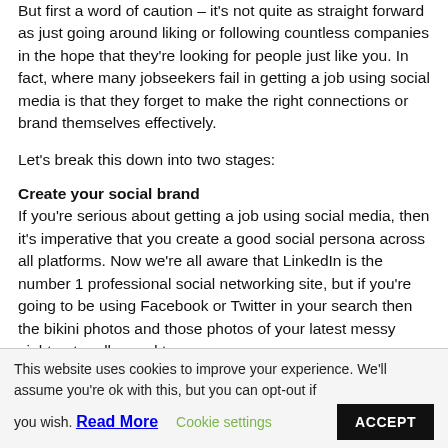But first a word of caution – it's not quite as straight forward as just going around liking or following countless companies in the hope that they're looking for people just like you. In fact, where many jobseekers fail in getting a job using social media is that they forget to make the right connections or brand themselves effectively.
Let's break this down into two stages:
Create your social brand
If you're serious about getting a job using social media, then it's imperative that you create a good social persona across all platforms. Now we're all aware that LinkedIn is the number 1 professional social networking site, but if you're going to be using Facebook or Twitter in your search then the bikini photos and those photos of your latest messy night out really need to go.
This website uses cookies to improve your experience. We'll assume you're ok with this, but you can opt-out if you wish. Read More   Cookie settings   ACCEPT